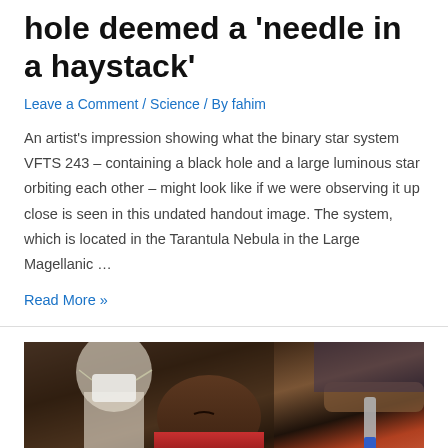hole deemed a 'needle in a haystack'
Leave a Comment / Science / By fahim
An artist's impression showing what the binary star system VFTS 243 – containing a black hole and a large luminous star orbiting each other – might look like if we were observing it up close is seen in this undated handout image. The system, which is located in the Tarantula Nebula in the Large Magellanic …
Read More »
[Figure (photo): A photograph showing a close-up of a young child lying down, wearing a red top, with a person in a white mask visible in the background and another person's hand visible reaching in with an instrument, in a medical-looking setting.]